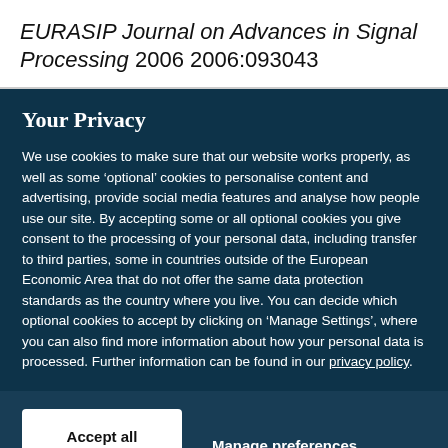EURASIP Journal on Advances in Signal Processing 2006 2006:093043
Your Privacy
We use cookies to make sure that our website works properly, as well as some ‘optional’ cookies to personalise content and advertising, provide social media features and analyse how people use our site. By accepting some or all optional cookies you give consent to the processing of your personal data, including transfer to third parties, some in countries outside of the European Economic Area that do not offer the same data protection standards as the country where you live. You can decide which optional cookies to accept by clicking on ‘Manage Settings’, where you can also find more information about how your personal data is processed. Further information can be found in our privacy policy.
Accept all cookies
Manage preferences